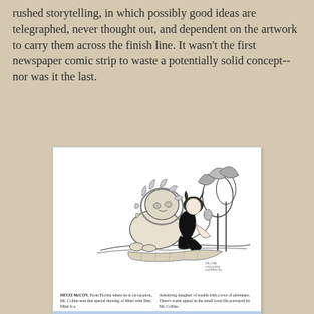rushed storytelling, in which possibly good ideas are telegraphed, never thought out, and dependent on the artwork to carry them across the finish line. It wasn't the first newspaper comic strip to waste a potentially solid concept--nor was it the last.
[Figure (illustration): Vintage newspaper comic strip promotional art showing a woman in a black swimsuit kneeling on an open book/carpet with a large lion standing behind her, palm trees in background. Below the illustration is a two-column caption about MITZI McCOY, from Florida, drawn by Mr. Collins. Below that is a blue banner reading 'Meet Mitzi McCoy's Creator' and a short article with a small photo.]